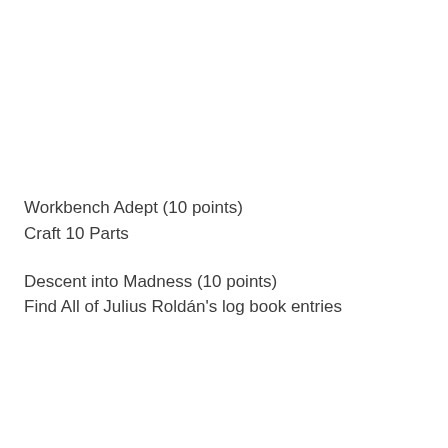Workbench Adept (10 points)
Craft 10 Parts
Descent into Madness (10 points)
Find All of Julius Roldán's log book entries